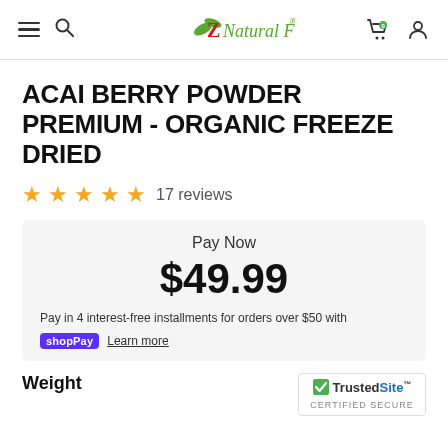Z Natural Foods
ACAI BERRY POWDER PREMIUM - ORGANIC FREEZE DRIED
17 reviews
Pay Now
$49.99
Pay in 4 interest-free installments for orders over $50 with shopPay Learn more
Weight